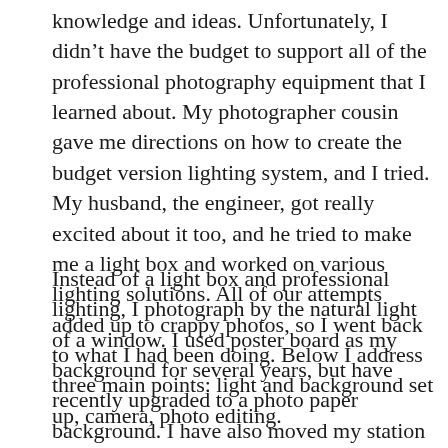knowledge and ideas.  Unfortunately, I didn't have the budget to support all of the professional photography equipment that I learned about. My photographer cousin gave me directions on how to create the budget version lighting system, and I tried.  My husband, the engineer, got really excited about it too, and he tried to make me a light box and worked on various lighting solutions.  All of our attempts added up to crappy photos, so I went back to what I had been doing. Below I address three main points: light and background set up, camera, photo editing.
Instead of a light box and professional lighting, I photograph by the natural light of a window.  I used poster board as my background for several years, but have recently upgraded to a photo paper background.   I have also moved my station to a permanent set up on a table instead of getting up and down off of the floor and constantly rolling up